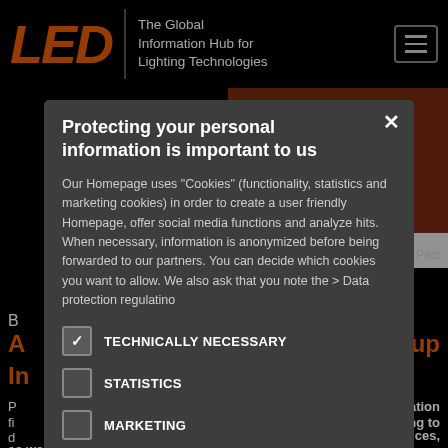LED | The Global Information Hub for Lighting Technologies
[Figure (screenshot): Background website page with LED logo, navigation, orange banner with NOW A WEB text, article title with AO Group, and article body text about sign/integration, Marketing, LED devices, and solid state illumination products]
Protecting your personal information is important to us
Our Homepage uses "Cookies" (functionality, statistics and marketing cookies) in order to create a user friendly Homepage, offer social media functions and analyze hits. When necessary, information is anonymized before being forwarded to our partners. You can decide which cookies you want to allow. We also ask that you note the > Data protection regulatino
TECHNICALLY NECESSARY
STATISTICS
MARKETING
FUNCTIONALITY